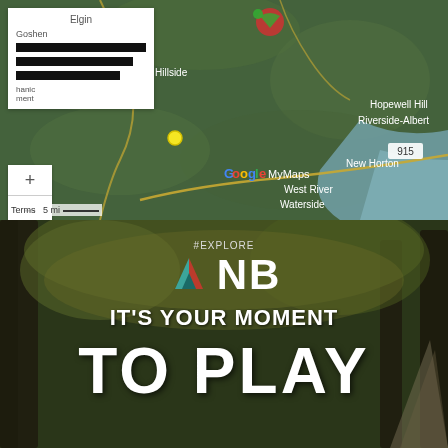[Figure (map): Google My Maps screenshot showing a satellite/terrain map of New Brunswick, Canada area with place names: Elgin, Goshen, Hillside, Hopewell Hill, Riverside-Albert, New Horton, West River, Waterside. Map features menu panel, zoom controls, scale bar, Google My Maps branding, route 915, and a yellow dot marker.]
[Figure (infographic): Tourism New Brunswick promotional image with forest/teepee background. Contains Explore NB logo with tent icon, tagline 'IT'S YOUR MOMENT TO PLAY' in large white bold text on a dark forest background.]